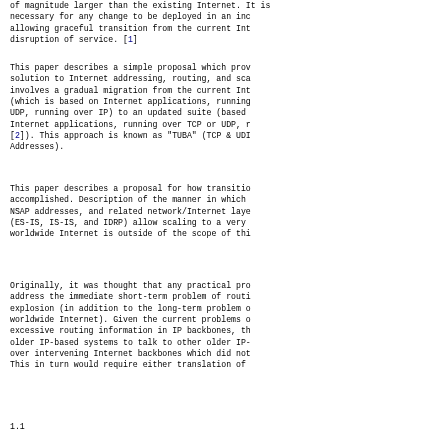of magnitude larger than the existing Internet. It is necessary for any change to be deployed in an incremental way, allowing graceful transition from the current Internet with no disruption of service. [1]
This paper describes a simple proposal which provides a solution to Internet addressing, routing, and scaling. It involves a gradual migration from the current Internet model (which is based on Internet applications, running over TCP or UDP, running over IP) to an updated suite (based on Internet applications, running over TCP or UDP, running over CLNP [2]). This approach is known as "TUBA" (TCP & UDP with Bigger Addresses).
This paper describes a proposal for how transition might be accomplished. Description of the manner in which CLNP, NSAP addresses, and related network/Internet layer protocols (ES-IS, IS-IS, and IDRP) allow scaling to a very large worldwide Internet is outside of the scope of this document.
Originally, it was thought that any practical proposal must address the immediate short-term problem of routing table explosion (in addition to the long-term problem of scaling the worldwide Internet). Given the current problems of carrying excessive routing information in IP backbones, the ability for older IP-based systems to talk to other older IP-based systems over intervening Internet backbones which did not support IP. This in turn would require either translation of
1.1  ...